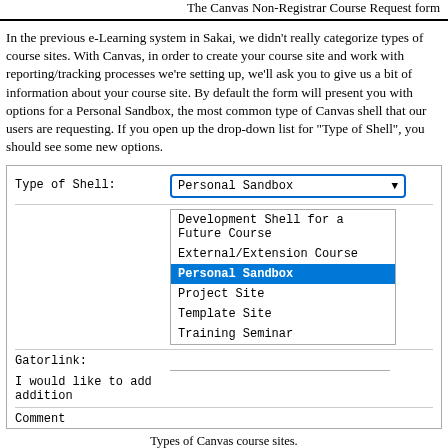The Canvas Non-Registrar Course Request form
In the previous e-Learning system in Sakai, we didn't really categorize types of course sites. With Canvas, in order to create your course site and work with reporting/tracking processes we're setting up, we'll ask you to give us a bit of information about your course site. By default the form will present you with options for a Personal Sandbox, the most common type of Canvas shell that our users are requesting. If you open up the drop-down list for "Type of Shell", you should see some new options.
[Figure (screenshot): A form showing 'Type of Shell' dropdown with 'Personal Sandbox' selected, and a dropdown menu open showing options: Development Shell for a Future Course, External/Extension Course, Personal Sandbox (highlighted), Project Site, Template Site, Training Seminar. Fields for Gatorlink, I would like to add addition, and Comment are also shown.]
Types of Canvas course sites.
To help you make sense of the options, here's a brief description of